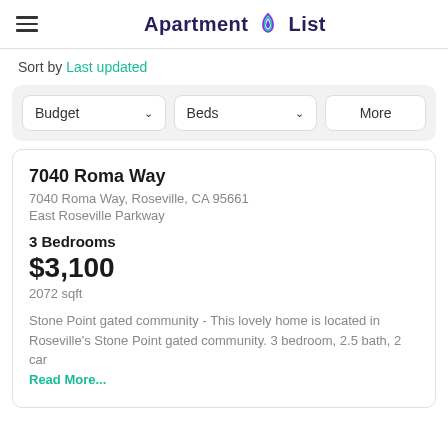Apartment List
Sort by Last updated
Budget  Beds  More
7040 Roma Way
7040 Roma Way, Roseville, CA 95661
East Roseville Parkway
3 Bedrooms
$3,100
2072 sqft
Stone Point gated community - This lovely home is located in Roseville's Stone Point gated community. 3 bedroom, 2.5 bath, 2 car Read More...